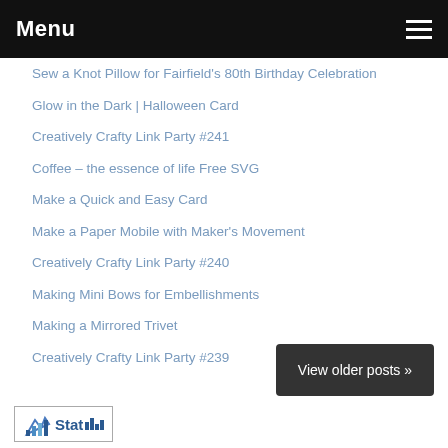Menu
Sew a Knot Pillow for Fairfield's 80th Birthday Celebration
Glow in the Dark | Halloween Card
Creatively Crafty Link Party #241
Coffee – the essence of life Free SVG
Make a Quick and Easy Card
Make a Paper Mobile with Maker's Movement
Creatively Crafty Link Party #240
Making Mini Bows for Embellishments
Making a Mirrored Trivet
Creatively Crafty Link Party #239
View older posts »
[Figure (logo): StatCounter logo with bar chart icon and text 'Stat']